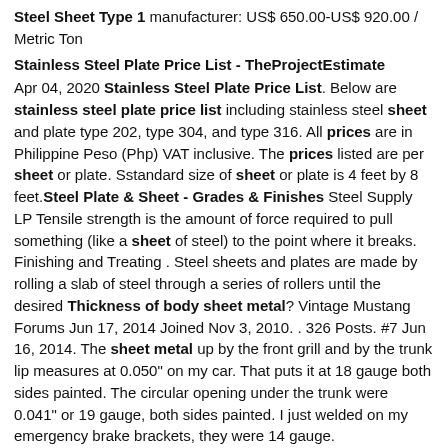Steel Sheet Type 1 manufacturer: US$ 650.00-US$ 920.00 / Metric Ton
Stainless Steel Plate Price List - TheProjectEstimate
Apr 04, 2020 Stainless Steel Plate Price List. Below are stainless steel plate price list including stainless steel sheet and plate type 202, type 304, and type 316. All prices are in Philippine Peso (Php) VAT inclusive. The prices listed are per sheet or plate. Sstandard size of sheet or plate is 4 feet by 8 feet.Steel Plate & Sheet - Grades & Finishes Steel Supply LP Tensile strength is the amount of force required to pull something (like a sheet of steel) to the point where it breaks. Finishing and Treating . Steel sheets and plates are made by rolling a slab of steel through a series of rollers until the desired Thickness of body sheet metal? Vintage Mustang Forums Jun 17, 2014 Joined Nov 3, 2010. . 326 Posts. #7 Jun 16, 2014. The sheet metal up by the front grill and by the trunk lip measures at 0.050" on my car. That puts it at 18 gauge both sides painted. The circular opening under the trunk were 0.041" or 19 gauge, both sides painted. I just welded on my emergency brake brackets, they were 14 gauge.
anti-slip aluminium chequer plate - Zhejiang Shuanglin
In sheet form, a relatively low thickness nevertheless provides a high degree of rigidity, whilst remaining formable under the right circumstances. Aluminum 3003s excellent machinability for its